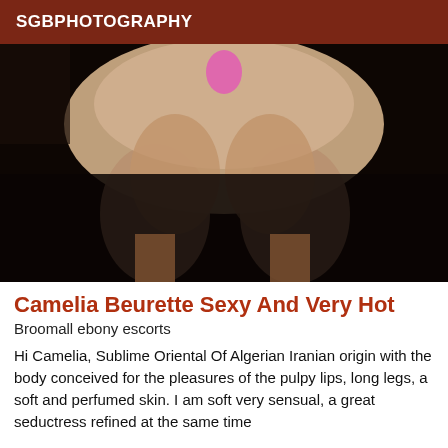SGBPHOTOGRAPHY
[Figure (photo): Close-up photograph with dark background]
Camelia Beurette Sexy And Very Hot
Broomall ebony escorts
Hi Camelia, Sublime Oriental Of Algerian Iranian origin with the body conceived for the pleasures of the pulpy lips, long legs, a soft and perfumed skin. I am soft very sensual, a great seductress refined at the same time